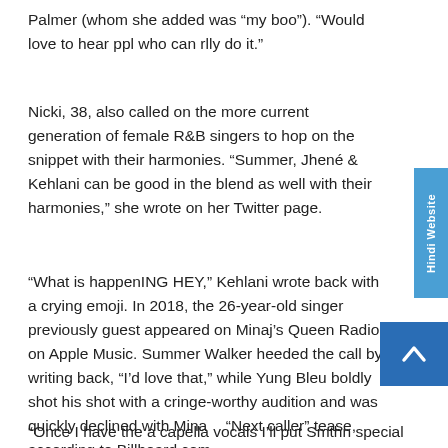Palmer (whom she added was “my boo”). “Would love to hear ppl who can rlly do it.”
Nicki, 38, also called on the more current generation of female R&B singers to hop on the snippet with their harmonies. “Summer, Jhené & Kehlani can be good in the blend as well with their harmonies,” she wrote on her Twitter page.
“What is happenING HEY,” Kehlani wrote back with a crying emoji. In 2018, the 26-year-old singer previously guest appeared on Minaj’s Queen Radio on Apple Music. Summer Walker heeded the call by writing back, “I’d love that,” while Yung Bleu boldly shot his shot with a cringe-worthy audition and was quickly declined with Minaj’s “Next caller” tease, according to Billboard.com
“Once I have the a capella vocals I’ll put Smthn special